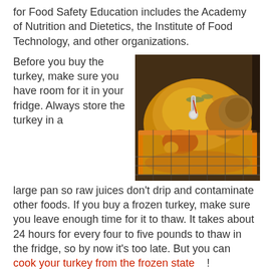for Food Safety Education includes the Academy of Nutrition and Dietetics, the Institute of Food Technology, and other organizations.
[Figure (photo): A roasted turkey in a glass roasting pan in an oven, with a meat thermometer inserted into it, golden brown skin visible.]
Before you buy the turkey, make sure you have room for it in your fridge. Always store the turkey in a large pan so raw juices don't drip and contaminate other foods. If you buy a frozen turkey, make sure you leave enough time for it to thaw. It takes about 24 hours for every four to five pounds to thaw in the fridge, so by now it's too late. But you can cook your turkey from the frozen state !
Always wash your hands with warm water and soap for 20 seconds before and after handling the raw turkey. Never ever